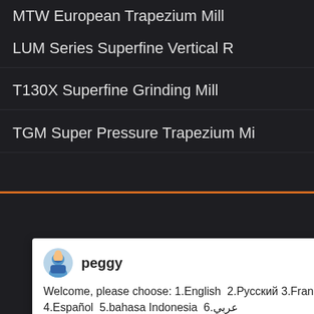MTW European Trapezium Mill
LUM Series Superfine Vertical R
T130X Superfine Grinding Mill
TGM Super Pressure Trapezium Mi
peggy
Welcome, please choose: 1.English  2.Русский 3.Français 4.Español  5.bahasa Indonesia  6.عربي
HOME
ABOUT
PRODUCT
CASE
CONTACT
mumumugoods@gmail.com
[Figure (screenshot): Orange banner with machine images, blue circle badge with number 1, 'Enjoy 3% discount', 'Click to Chat', and 'Enquiry' sections]